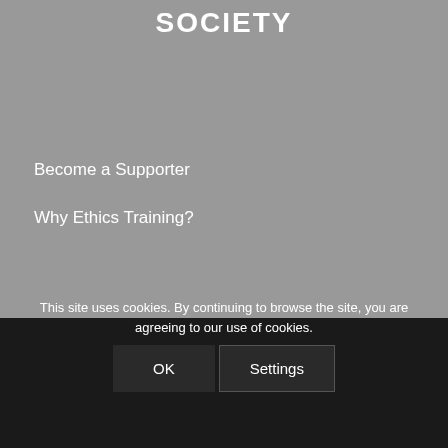SOCIETY
Become a Supporter
Why Ethics Training?
This site uses cookies. By continuing to browse the site, you are agreeing to our use of cookies.
BEE Affidavit
Integrated Report